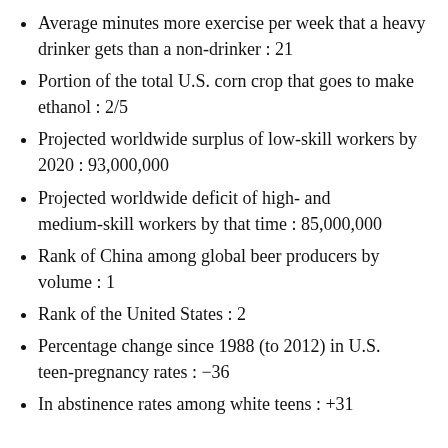Average minutes more exercise per week that a heavy drinker gets than a non-drinker : 21
Portion of the total U.S. corn crop that goes to make ethanol : 2/5
Projected worldwide surplus of low-skill workers by 2020 : 93,000,000
Projected worldwide deficit of high- and medium-skill workers by that time : 85,000,000
Rank of China among global beer producers by volume : 1
Rank of the United States : 2
Percentage change since 1988 (to 2012) in U.S. teen-pregnancy rates : −36
In abstinence rates among white teens : +31